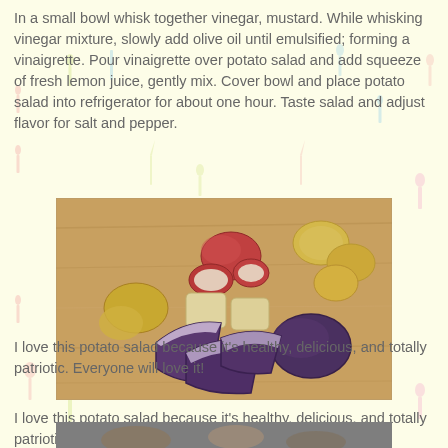In a small bowl whisk together vinegar, mustard. While whisking vinegar mixture, slowly add olive oil until emulsified; forming a vinaigrette. Pour vinaigrette over potato salad and add squeeze of fresh lemon juice, gently mix. Cover bowl and place potato salad into refrigerator for about one hour. Taste salad and adjust flavor for salt and pepper.
[Figure (photo): Photo of various potatoes on a wooden cutting board: yellow potatoes, red potatoes cut in half, and purple potatoes cut in wedges.]
I love this potato salad because it's healthy, delicious, and totally patriotic. Everyone will love it!
[Figure (photo): Partial photo at bottom of page showing a dish with potato salad.]